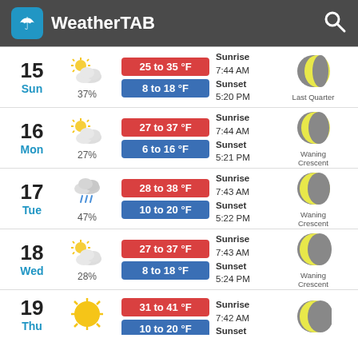WeatherTAB
| Day | Weather | High/Low | Sunrise/Sunset | Moon |
| --- | --- | --- | --- | --- |
| 15 Sun | 37% | 25 to 35 °F / 8 to 18 °F | Sunrise 7:44 AM Sunset 5:20 PM | Last Quarter |
| 16 Mon | 27% | 27 to 37 °F / 6 to 16 °F | Sunrise 7:44 AM Sunset 5:21 PM | Waning Crescent |
| 17 Tue | 47% | 28 to 38 °F / 10 to 20 °F | Sunrise 7:43 AM Sunset 5:22 PM | Waning Crescent |
| 18 Wed | 28% | 27 to 37 °F / 8 to 18 °F | Sunrise 7:43 AM Sunset 5:24 PM | Waning Crescent |
| 19 Thu |  | 31 to 41 °F / 10 to 20 °F | Sunrise 7:42 AM Sunset |  |